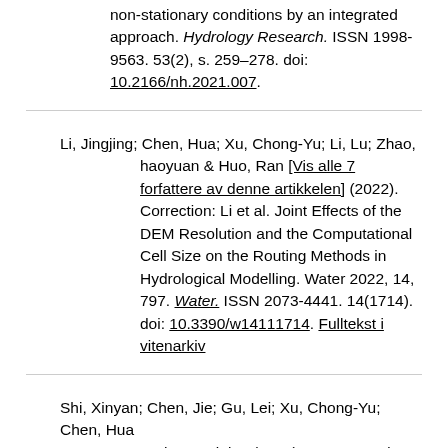non-stationary conditions by an integrated approach. Hydrology Research. ISSN 1998-9563. 53(2), s. 259–278. doi: 10.2166/nh.2021.007.
Li, Jingjing; Chen, Hua; Xu, Chong-Yu; Li, Lu; Zhao, haoyuan & Huo, Ran [Vis alle 7 forfattere av denne artikkelen] (2022). Correction: Li et al. Joint Effects of the DEM Resolution and the Computational Cell Size on the Routing Methods in Hydrological Modelling. Water 2022, 14, 797. Water. ISSN 2073-4441. 14(1714). doi: 10.3390/w14111714. Fulltekst i vitenarkiv
Shi, Xinyan; Chen, Jie; Gu, Lei; Xu, Chong-Yu; Chen, Hua & Zhang, Liping (2021). Impacts and socioeconomic exposures of global extreme precipitation events in